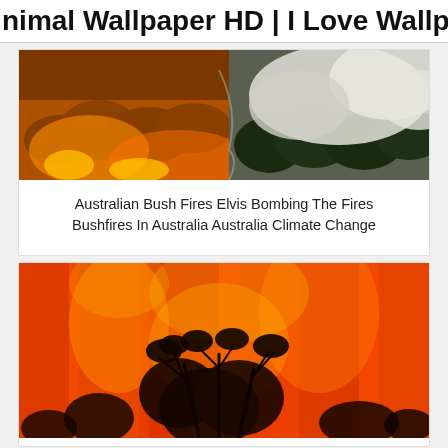nimal Wallpaper HD | I Love Wallpap
[Figure (photo): Aerial view of Australian bush fires with a water bombing aircraft dropping retardant, showing burning forest on left and white smoke/water cloud on right]
Australian Bush Fires Elvis Bombing The Fires Bushfires In Australia Australia Climate Change
[Figure (photo): Ground-level view of intense Australian bush fire with bright orange flames engulfing trees and vegetation, silhouetted tree branches visible against the fire]